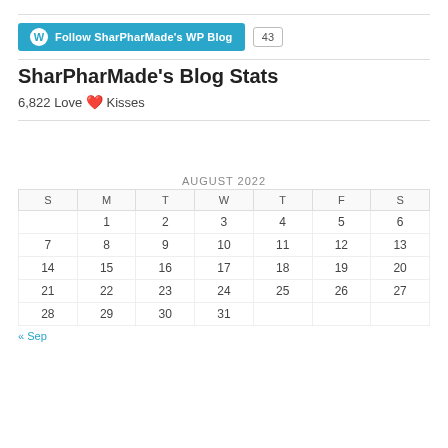[Figure (other): Follow SharPharMade's WP Blog button with follower count 43]
SharPharMade's Blog Stats
6,822 Love 💕 Kisses
| S | M | T | W | T | F | S |
| --- | --- | --- | --- | --- | --- | --- |
|  | 1 | 2 | 3 | 4 | 5 | 6 |
| 7 | 8 | 9 | 10 | 11 | 12 | 13 |
| 14 | 15 | 16 | 17 | 18 | 19 | 20 |
| 21 | 22 | 23 | 24 | 25 | 26 | 27 |
| 28 | 29 | 30 | 31 |  |  |  |
« Sep